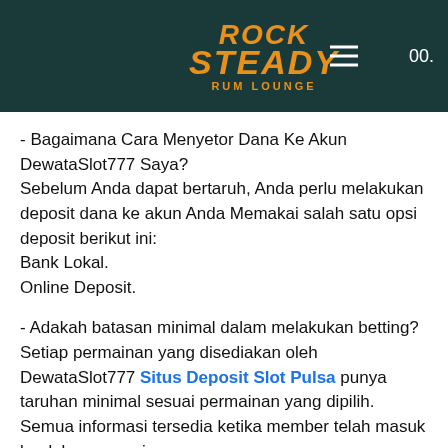Rock Steady Rum Lounge — navigation header with logo and hamburger menu, partially showing '00.'
- Bagaimana Cara Menyetor Dana Ke Akun DewataSlot777 Saya?
Sebelum Anda dapat bertaruh, Anda perlu melakukan deposit dana ke akun Anda Memakai salah satu opsi deposit berikut ini:
Bank Lokal.
Online Deposit.
- Adakah batasan minimal dalam melakukan betting?
Setiap permainan yang disediakan oleh DewataSlot777 Situs Deposit Slot Pulsa punya taruhan minimal sesuai permainan yang dipilih. Semua informasi tersedia ketika member telah masuk ke dalam permainan.
- Apakah situs DewataSlot777 terpercaya?
Situs DewataSlot777 yaitu situs resmi yang